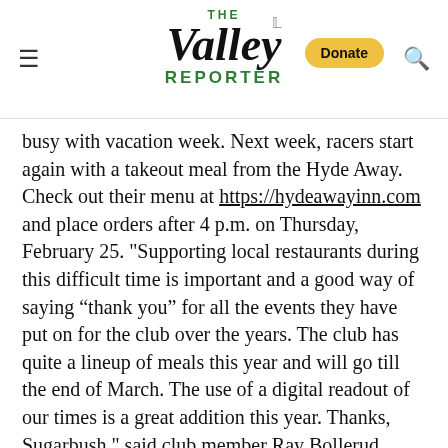The Valley Reporter
busy with vacation week. Next week, racers start again with a takeout meal from the Hyde Away. Check out their menu at https://hydeawayinn.com and place orders after 4 p.m. on Thursday, February 25. "Supporting local restaurants during this difficult time is important and a good way of saying “thank you” for all the events they have put on for the club over the years. The club has quite a lineup of meals this year and will go till the end of March. The use of a digital readout of our times is a great addition this year. Thanks, Sugarbush," said club member Ray Bollerud.
On Thursday, February 25, Sugarbush raun a race